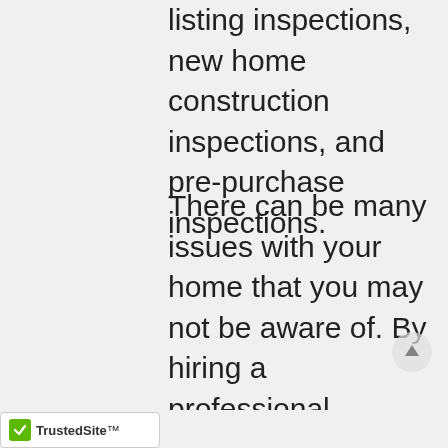listing inspections, new home construction inspections, and pre-purchase inspections.
There can be many issues with your home that you may not be aware of. By hiring a professional inspector from Biller and Associates,  we can address the issues that we find and let you know of items that are currently intact but should be monitored going forward and which items need to be replaced or repaired immediately. Home inspections are gned to disclose deficiencies
[Figure (logo): TrustedSite badge with green checkmark]